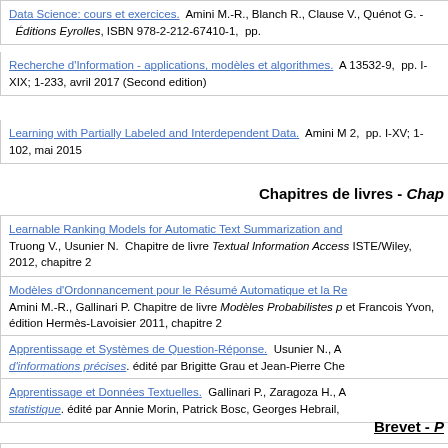Data Science: cours et exercices. Amini M.-R., Blanch R., Clause V., Quénot G. - Éditions Eyrolles, ISBN 978-2-212-67410-1, pp.
Recherche d'Information - applications, modèles et algorithmes. 13532-9, pp. I-XIX; 1-233, avril 2017 (Second edition)
Learning with Partially Labeled and Interdependent Data. Amini M 2, pp. I-XV; 1-102, mai 2015
Chapitres de livres - Chap
Learnable Ranking Models for Automatic Text Summarization and Truong V., Usunier N. Chapitre de livre Textual Information Access ISTE/Wiley, 2012, chapitre 2
Modèles d'Ordonnancement pour le Résumé Automatique et la Re Amini M.-R., Gallinari P. Chapitre de livre Modèles Probabilistes p et Francois Yvon, édition Hermès-Lavoisier 2011, chapitre 2
Apprentissage et Systèmes de Question-Réponse. Usunier N., A d'informations précises. édité par Brigitte Grau et Jean-Pierre Che
Apprentissage et Données Textuelles. Gallinari P., Zaragoza H., A statistique. édité par Annie Morin, Patrick Bosc, Georges Hebrail,
Brevet - P
Text categorization based on co-classification learning from multili